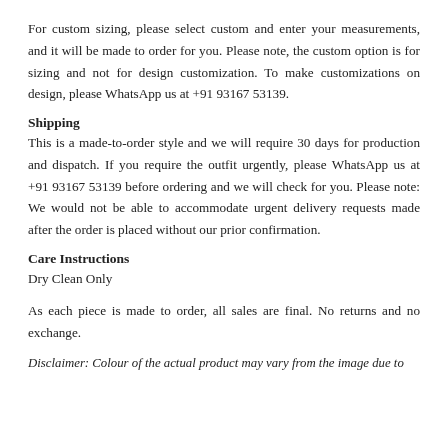For custom sizing, please select custom and enter your measurements, and it will be made to order for you. Please note, the custom option is for sizing and not for design customization. To make customizations on design, please WhatsApp us at +91 93167 53139.
Shipping
This is a made-to-order style and we will require 30 days for production and dispatch. If you require the outfit urgently, please WhatsApp us at +91 93167 53139 before ordering and we will check for you. Please note: We would not be able to accommodate urgent delivery requests made after the order is placed without our prior confirmation.
Care Instructions
Dry Clean Only
As each piece is made to order, all sales are final. No returns and no exchange.
Disclaimer: Colour of the actual product may vary from the image due to